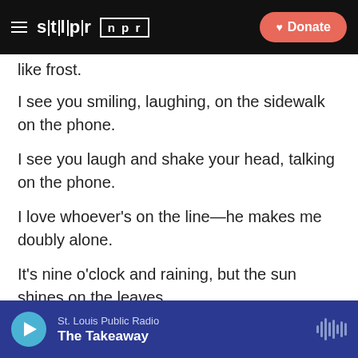stlpr | npr — Donate
like frost.
I see you smiling, laughing, on the sidewalk on the phone.
I see you laugh and shake your head, talking on the phone.
I love whoever's on the line—he makes me doubly alone.
It's nine o'clock and raining, but the sun shines on the leaves.
It's almost night and raining, but there's sunshine on the leaves.
St. Louis Public Radio — The Takeaway